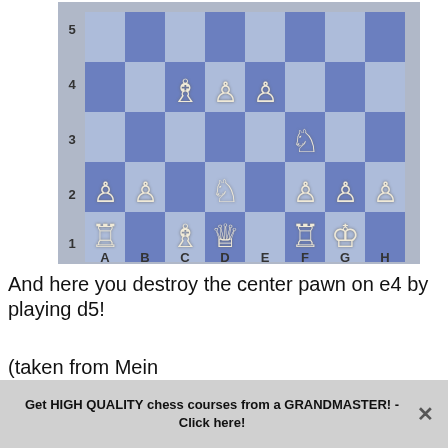[Figure (other): Chess board diagram showing a position with white pieces: rook a1, king g1, bishop c1, queen d1, rook f1, pawn a2, pawn b2, pawn f2, pawn g2, pawn h2, knight d2, bishop c4, pawn d4, pawn e4, knight f3. Board labeled with files A-H and ranks 1-5 visible.]
And here you destroy the center pawn on e4 by playing d5!
(taken from Mein System/A.Nimzowitsch/1973/p.49-50)
Get HIGH QUALITY chess courses from a GRANDMASTER! - Click here!